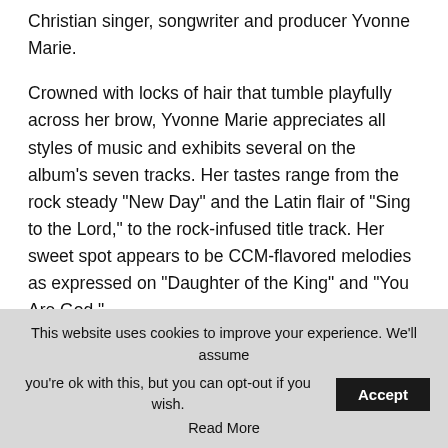Christian singer, songwriter and producer Yvonne Marie.
Crowned with locks of hair that tumble playfully across her brow, Yvonne Marie appreciates all styles of music and exhibits several on the album's seven tracks. Her tastes range from the rock steady “New Day” and the Latin flair of “Sing to the Lord,” to the rock-infused title track. Her sweet spot appears to be CCM-flavored melodies as expressed on “Daughter of the King” and “You Are God.”
Ms. Marie sings with an earthy neo-soul alto, wise but playful, and delivers lyrics like instructional moments–
This website uses cookies to improve your experience. We’ll assume you’re ok with this, but you can opt-out if you wish. Accept Read More